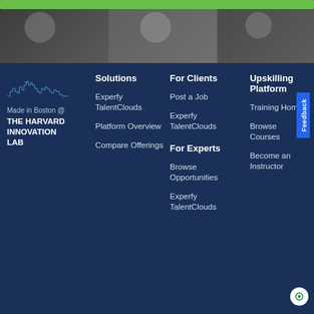[Figure (photo): Top banner with green bar and grayscale photo of people working]
[Figure (illustration): Boston skyline illustration in light blue outline style]
Made in Boston @
THE HARVARD INNOVATION LAB
Solutions
Experfy TalentClouds
Platform Overview
Compare Offerings
For Clients
Post a Job
Experfy TalentClouds
For Experts
Browse Opportunities
Experfy TalentClouds
Upskilling Platform
Training Home
Browse Courses
Become an Instructor